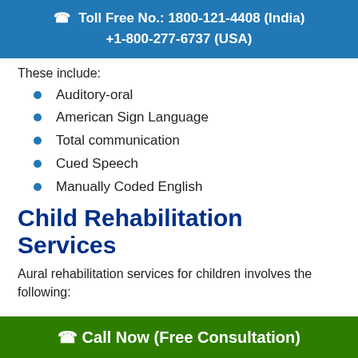Toll Free No.: 1800-121-4408 (India)
+1-800-277-6737 (USA)
These include:
Auditory-oral
American Sign Language
Total communication
Cued Speech
Manually Coded English
Child Rehabilitation Services
Aural rehabilitation services for children involves the following:
Call Now (Free Consultation)